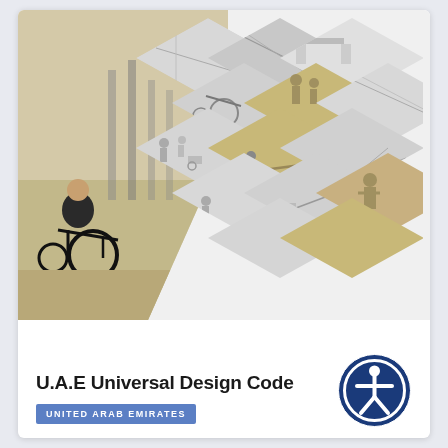[Figure (illustration): Cover page collage: a person in a wheelchair on the left, and a diamond-pattern grid of architectural/accessibility diagrams and silhouettes on the right. Subject: UAE Universal Design Code.]
U.A.E Universal Design Code
UNITED ARAB EMIRATES